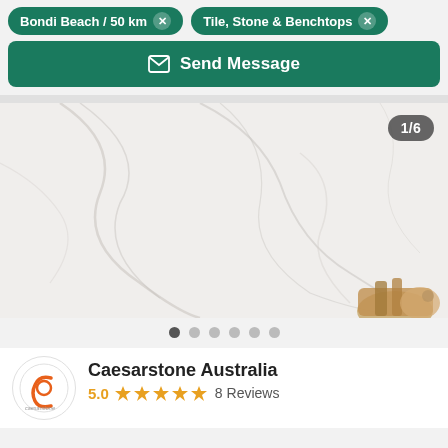Bondi Beach / 50 km  Tile, Stone & Benchtops
Send Message
[Figure (photo): White marble surface with subtle grey veining. Wooden accessories (brush, small stool) visible in lower right corner. Image counter shows 1/6.]
Caesarstone Australia
5.0  ★★★★★  8 Reviews